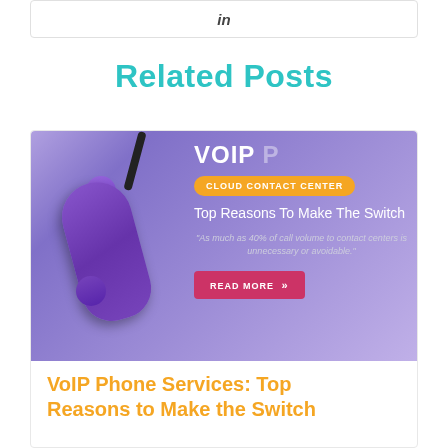[Figure (screenshot): LinkedIn share button bar with 'in' icon]
Related Posts
[Figure (infographic): VoIP phone services promotional image with purple phone handset on purple gradient background. Shows 'VOIP' title, orange badge 'CLOUD CONTACT CENTER', subtitle 'Top Reasons To Make The Switch', quote 'As much as 40% of call volume to contact centers is unnecessary or avoidable.', and a pink READ MORE button.]
VoIP Phone Services: Top Reasons to Make the Switch